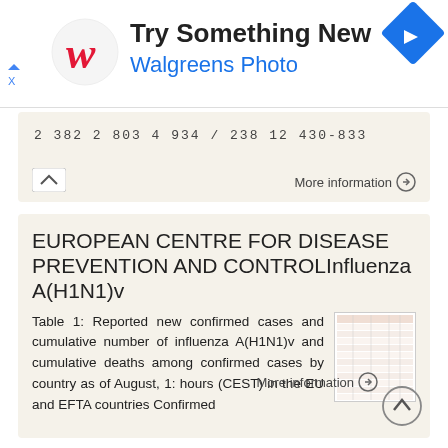[Figure (logo): Walgreens Photo advertisement banner with Walgreens W logo, 'Try Something New' heading, 'Walgreens Photo' subtext, and a navigation arrow icon]
2 382 2 803 4 934 / 238 12 430-833
More information →
EUROPEAN CENTRE FOR DISEASE PREVENTION AND CONTROLInfluenza A(H1N1)v
Table 1: Reported new confirmed cases and cumulative number of influenza A(H1N1)v and cumulative deaths among confirmed cases by country as of August, 1: hours (CEST) in the EU and EFTA countries Confirmed
More information →